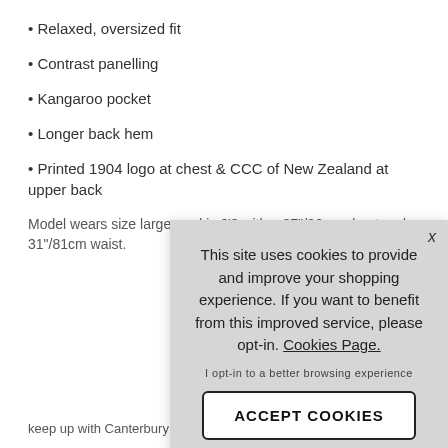• Relaxed, oversized fit
• Contrast panelling
• Kangaroo pocket
• Longer back hem
• Printed 1904 logo at chest & CCC of New Zealand at upper back
Model wears size large, and is 6'3 with a 37"/96cm chest and 31"/81cm waist.
This site uses cookies to provide and improve your shopping experience. If you want to benefit from this improved service, please opt-in. Cookies Page.

I opt-in to a better browsing experience

ACCEPT COOKIES
keep up with Canterbury